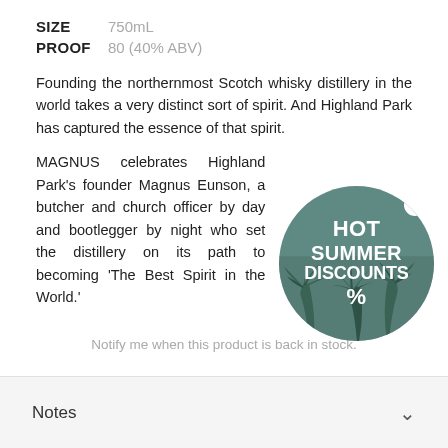SIZE   750mL
PROOF   80 (40% ABV)
Founding the northernmost Scotch whisky distillery in the world takes a very distinct sort of spirit. And Highland Park has captured the essence of that spirit.
MAGNUS celebrates Highland Park's founder Magnus Eunson, a butcher and church officer by day and bootlegger by night who set the distillery on its path to becoming 'The Best Spirit in the World.'
[Figure (other): Circular promotional badge with teal/green background and palm tree silhouettes. Text reads: HOT SUMMER DISCOUNTS % with an X close button in upper right.]
Notify me when this product is back in stock.
Notes